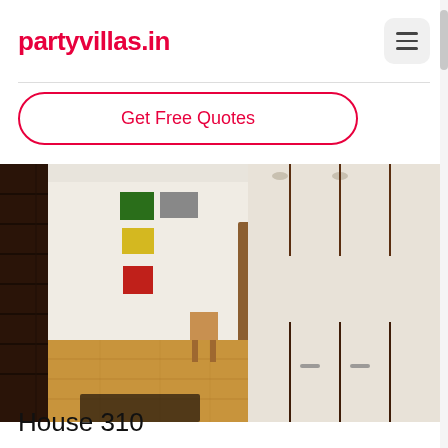partyvillas.in
Get Free Quotes
[Figure (photo): Interior photo of a house showing a living/dining area with white walls, wood floors, colorful wall art, a brown wooden door in the background, dark wood cabinetry on the right side with white shelving, and a staircase on the left.]
House 310